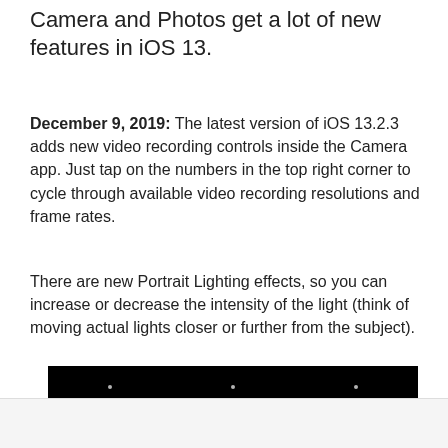Camera and Photos get a lot of new features in iOS 13.
December 9, 2019: The latest version of iOS 13.2.3 adds new video recording controls inside the Camera app. Just tap on the numbers in the top right corner to cycle through available video recording resolutions and frame rates.
There are new Portrait Lighting effects, so you can increase or decrease the intensity of the light (think of moving actual lights closer or further from the subject).
[Figure (screenshot): Black video player bar with small dots/icons visible]
Best Forex Brokers for profitable trading
Open Forex Account, receive Bonus and start earning Now
forex-ratings.com